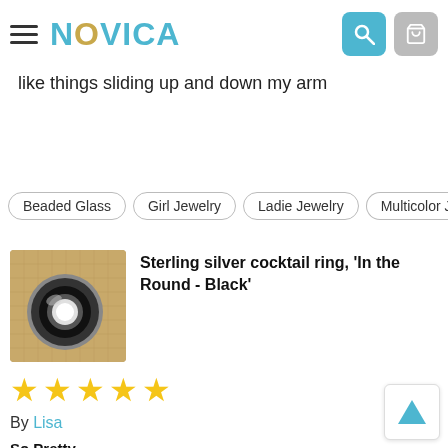NOVICA
...and positive, wearing and love that I can adjust the size I don't like things sliding up and down my arm
Beaded Glass
Girl Jewelry
Ladie Jewelry
Multicolor J...
Sterling silver cocktail ring, 'In the Round - Black'
[Figure (photo): Photo of a sterling silver cocktail ring with black resin/onyx-look stone on burlap background]
★★★★★
By Lisa
So Pretty
I love this ring! My size was on back order but still received quick. Quality craftsmanship, it looks like black onyx even though it s resin.